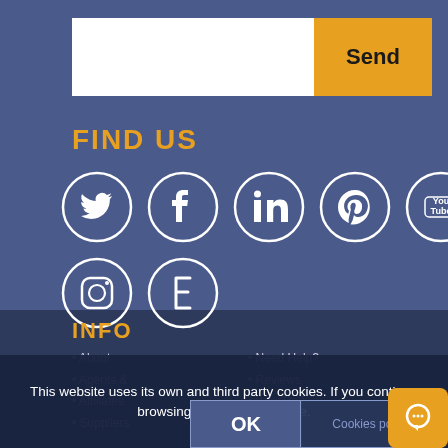[Figure (other): Search input bar with 'Send' button on right (orange background)]
FIND US
[Figure (infographic): Row 1 social media icons in white circles on blue background: Twitter, Facebook, LinkedIn, Pinterest, YouTube. Row 2: Instagram, Etsy (stylized E)]
INFO
About
Agents &
Affiliates
Suppliers
Need Help?
Reviews
Why Us?
Bloggers
This website uses its own and third party cookies. If you continue browsing, you accept its use.
OK
Cookies policy